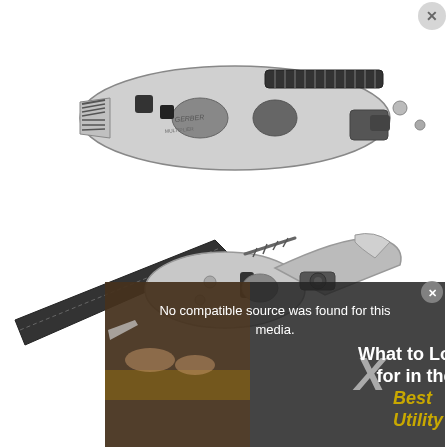[Figure (photo): Photo of a multi-tool / utility knife with wrench: two views showing the compact folded tool (top) and the tool with blade and wrench extended (bottom left). Below the main product photo is a video overlay with text 'No compatible source was found for this media.' and a promo panel reading 'What to Look for in the Best Utility Knife' with an X close button and a circle-close in top right.]